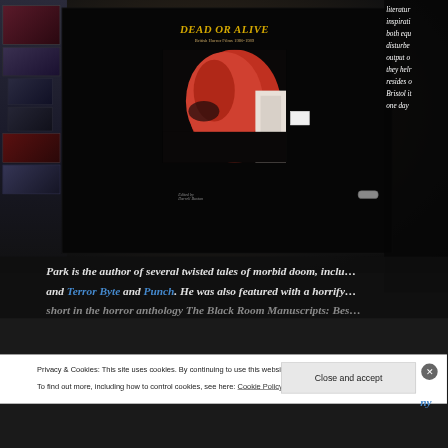[Figure (photo): A person holding up a book titled 'Dead or Alive: British Horror Films 1980-1989'. On the left is a rack of DVDs/books. The right side is cut off. The background is dark.]
Park is the author of several twisted tales of morbid doom, inclu… and Terror Byte and Punch. He was also featured with a horrify… short in the horror anthology The Black Room Manuscripts: Bes…
Privacy & Cookies: This site uses cookies. By continuing to use this website, you agree to their use.
To find out more, including how to control cookies, see here: Cookie Policy
Close and accept